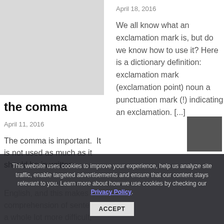[Figure (photo): Gray placeholder image in the top-left of the left column]
the comma
April 11, 2016
The comma is important.  It is not used as much as it should be in written English, and this makes comprehension of sentences a whole lot more difficult, especially if English is not your native
April 18, 2016
We all know what an exclamation mark is, but do we know how to use it? Here is a dictionary definition: exclamation mark (exclamation point) noun a punctuation mark (!) indicating an exclamation. [...]
This website uses cookies to improve your experience, help us analyze site traffic, enable targeted advertisements and ensure that our content stays relevant to you. Learn more about how we use cookies by checking our Privacy Policy.
ACCEPT